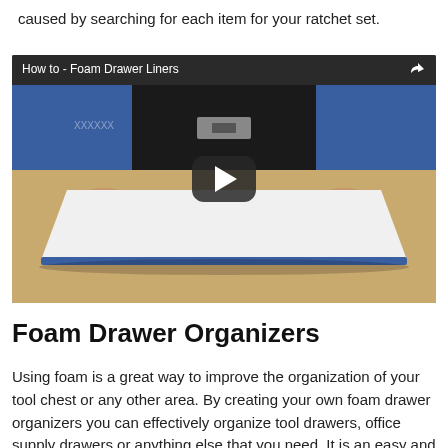caused by searching for each item for your ratchet set.
[Figure (screenshot): Embedded video thumbnail showing a person in a blue shirt smoothing a white foam drawer liner on a table. Video title reads 'How to - Foam Drawer Liners'. A play button overlay is visible in the center.]
Foam Drawer Organizers
Using foam is a great way to improve the organization of your tool chest or any other area. By creating your own foam drawer organizers you can effectively organize tool drawers, office supply drawers or anything else that you need. It is an easy and affordable